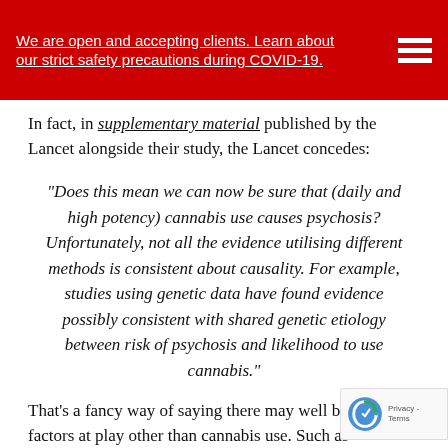We are open and accepting clients. Learn about our strict safety precautions during COVID-19.
In fact, in supplementary material published by the Lancet alongside their study, the Lancet concedes:
“Does this mean we can now be sure that (daily and high potency) cannabis use causes psychosis? Unfortunately, not all the evidence utilising different methods is consistent about causality. For example, studies using genetic data have found evidence possibly consistent with shared genetic etiology between risk of psychosis and likelihood to use cannabis.”
That’s a fancy way of saying there may well be other factors at play other than cannabis use. Such as